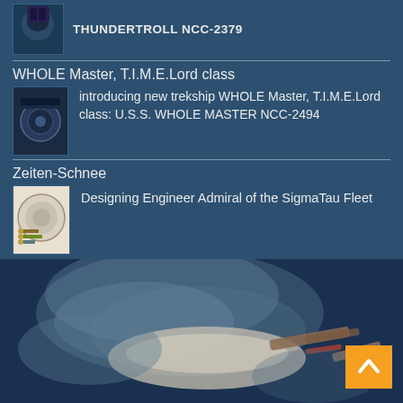THUNDERTROLL NCC-2379
WHOLE Master, T.I.M.E.Lord class
introducing new trekship WHOLE Master, T.I.M.E.Lord class: U.S.S. WHOLE MASTER NCC-2494
Zeiten-Schnee
Designing Engineer Admiral of the SigmaTau Fleet
all ships created via photo editing, re-assembled from few own photographs via morphing etc. ...
[Figure (photo): Bottom portion of page showing a spaceship or sci-fi vessel image with smoky/nebula background, blue tones]
[Figure (illustration): Back-to-top navigation button with orange background and upward chevron arrow]